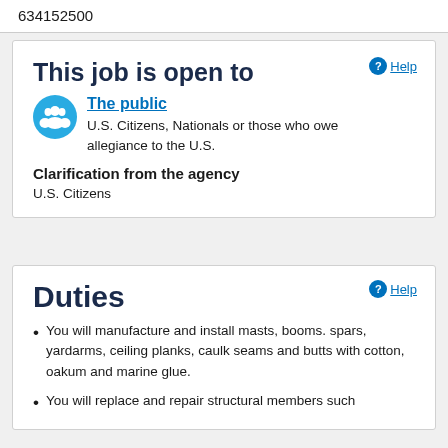634152500
This job is open to
The public
U.S. Citizens, Nationals or those who owe allegiance to the U.S.
Clarification from the agency
U.S. Citizens
Duties
You will manufacture and install masts, booms. spars, yardarms, ceiling planks, caulk seams and butts with cotton, oakum and marine glue.
You will replace and repair structural members such